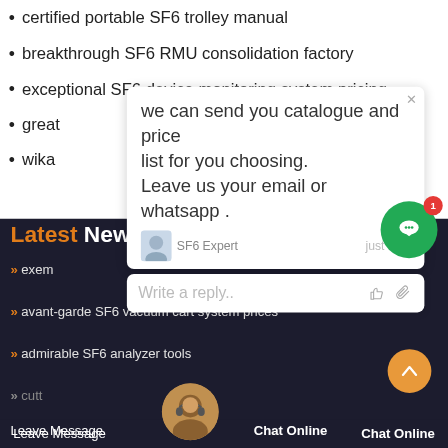certified portable SF6 trolley manual
breakthrough SF6 RMU consolidation factory
exceptional SF6 device monitoring system pricing
great [partially hidden]
wika [partially hidden]
we can send you catalogue and price list for you choosing.
Leave us your email or whatsapp.
SF6 Expert    just now
Write a reply..
Latest News
exem[plary...] (partially hidden)
avant-garde SF6 vacuum cart system prices
admirable SF6 analyzer tools [partially hidden]
cutt[ing-edge/leading] SF6 uni[t] [man]facturers
Leave Message    Chat Online